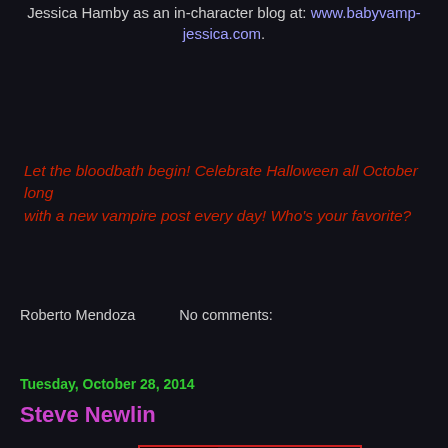Jessica Hamby as an in-character blog at: www.babyvamp-jessica.com.
Let the bloodbath begin! Celebrate Halloween all October long with a new vampire post every day! Who's your favorite?
Roberto Mendoza    No comments:
Share
Tuesday, October 28, 2014
Steve Newlin
[Figure (photo): Advertisement banner: cafe press - Get your Vilf on.... with vampire imagery and a mug]
Steven Newlin, generally referred to in short as Steve Newlin, was a recurring character on True Blood. Played by